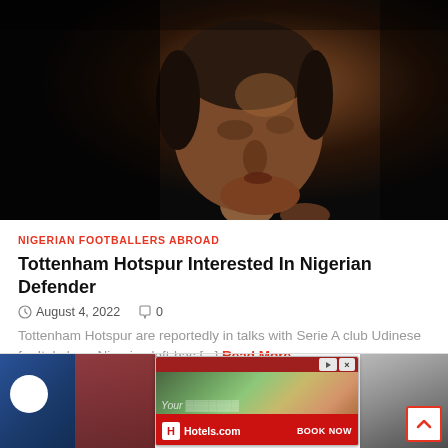[Figure (photo): Close-up profile photo of a man (Antonio Conte) with dark hair, looking to the right, dark background]
NIGERIAN FOOTBALLERS ABROAD
Tottenham Hotspur Interested In Nigerian Defender
August 4, 2022   0
Tottenham Hotspur are reportedly in talks with Serie A club Udinese for Italy-born Nigerian left-bac [...] Read More
[Figure (screenshot): Hotels.com advertisement banner with aerial resort photo and BOOK NOW button]